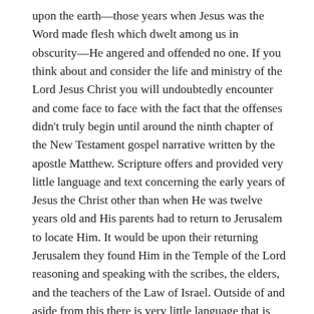upon the earth—those years when Jesus was the Word made flesh which dwelt among us in obscurity—He angered and offended no one. If you think about and consider the life and ministry of the Lord Jesus Christ you will undoubtedly encounter and come face to face with the fact that the offenses didn't truly begin until around the ninth chapter of the New Testament gospel narrative written by the apostle Matthew. Scripture offers and provided very little language and text concerning the early years of Jesus the Christ other than when He was twelve years old and His parents had to return to Jerusalem to locate Him. It would be upon their returning Jerusalem they found Him in the Temple of the Lord reasoning and speaking with the scribes, the elders, and the teachers of the Law of Israel. Outside of and aside from this there is very little language that is found within the New Testament gospels that provides any type of context surrounding Jesus the Christ. I would dare say that during and for those first thirty years of His life